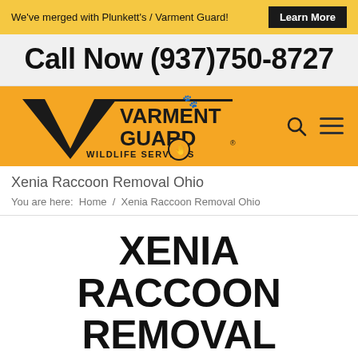We've merged with Plunkett's / Varment Guard! Learn More
Call Now (937)750-8727
[Figure (logo): Varment Guard Wildlife Services logo on orange background with search and hamburger menu icons]
Xenia Raccoon Removal Ohio
You are here:  Home  /  Xenia Raccoon Removal Ohio
XENIA RACCOON REMOVAL  (937)750-8727
FEEL FREE TO CALL US